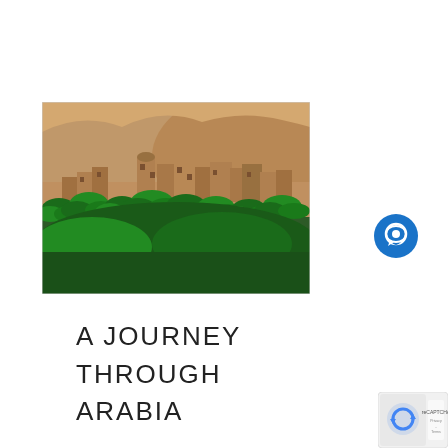[Figure (photo): Aerial view of an ancient Arabian mud-brick village or fort with a round tower, surrounded by dense green date palm trees, with rocky desert hills in the background.]
[Figure (other): Blue circular chat/messaging icon button on the right side of the page.]
A JOURNEY THROUGH ARABIA
[Figure (other): Google reCAPTCHA badge in the bottom-right corner.]